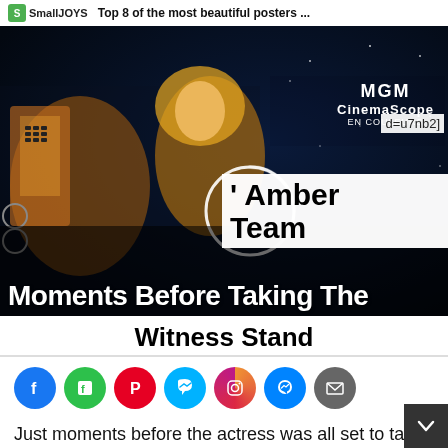SmallJOYS  Top 8 of the most beautiful posters ...
[Figure (screenshot): MGM CinemaScope movie poster image with a sci-fi robot and woman in space, with a white loading spinner circle overlay, and partial URL text 'd=u7nb2]' visible on right side. Text overlays: right side shows 'Amber Team', bottom shows 'Moments Before Taking The']
' Amber Team Moments Before Taking The Witness Stand
Social sharing icons: Facebook, Flipboard, Pinterest, Messenger, Instagram, Messenger, Email
Just moments before the actress was all set to take the witness stand and testify in the high-profile defamation trial involving actor Johnny Depp, Amber Heard has reportedly fired her enti